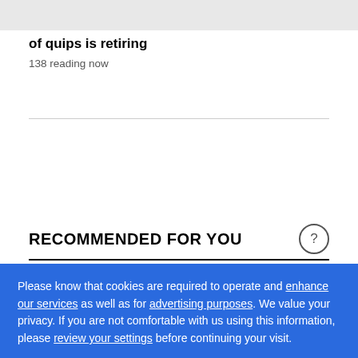of quips is retiring
138 reading now
RECOMMENDED FOR YOU
Please know that cookies are required to operate and enhance our services as well as for advertising purposes. We value your privacy. If you are not comfortable with us using this information, please review your settings before continuing your visit.